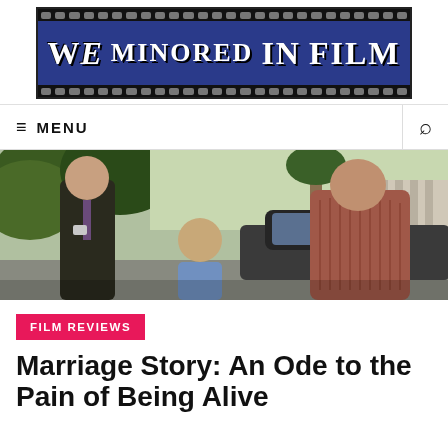[Figure (logo): We Minored In Film logo — blue film strip banner with white serif text on dark blue background]
≡ MENU
[Figure (photo): Movie still from Marriage Story showing two adults and a child near a car outdoors]
FILM REVIEWS
Marriage Story: An Ode to the Pain of Being Alive